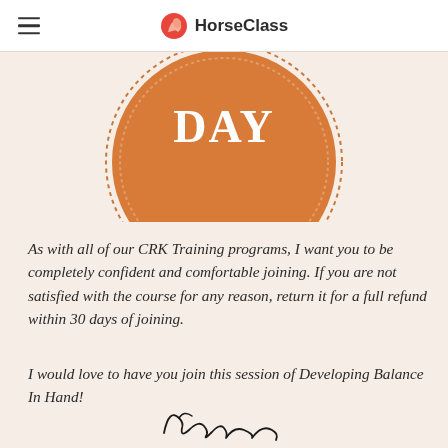HorseClass
[Figure (illustration): Orange circular guarantee badge showing 'DAY GUARANTEE' text with dotted border, partially cropped at top]
As with all of our CRK Training programs, I want you to be completely confident and comfortable joining. If you are not satisfied with the course for any reason, return it for a full refund within 30 days of joining.
I would love to have you join this session of Developing Balance In Hand!
[Figure (illustration): Handwritten cursive signature, appears to read 'Callie']